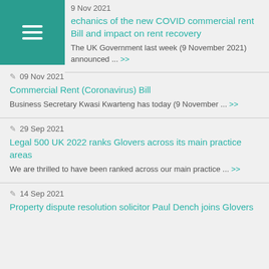[Figure (other): Teal square menu button with three horizontal white lines (hamburger menu icon)]
9 Nov 2021
Mechanics of the new COVID commercial rent Bill and impact on rent recovery
The UK Government last week (9 November 2021) announced ... >>
09 Nov 2021
Commercial Rent (Coronavirus) Bill
Business Secretary Kwasi Kwarteng has today (9 November ... >>
29 Sep 2021
Legal 500 UK 2022 ranks Glovers across its main practice areas
We are thrilled to have been ranked across our main practice ... >>
14 Sep 2021
Property dispute resolution solicitor Paul Dench joins Glovers